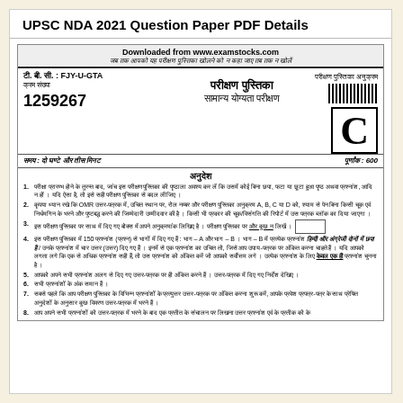UPSC NDA 2021 Question Paper PDF Details
Downloaded from www.examstocks.com
जब तक आपको यह परीक्षण पुस्तिका खोलने को न कहा जाए तब तक न खोलें
टी. बी. सी. : FJY-U-GTA   परीक्षण पुस्तिका अनुक्रम
क्रम संख्या
1259267   परीक्षण पुस्तिका   सामान्य योग्यता परीक्षण   C
समय : दो घण्टे और तीस मिनट   पूर्णांक : 600
अनुदेश
1. परीक्षा प्रारम्भ होने के तुरन्त बाद, जांच इस परीक्षण पुस्तिका की पृष्ठाला अवश्य कर लें कि उसमें कोई बिना छपा, फटा या छूटा हुआ पृष्ठ अथवा प्रश्नांश, आदि न हों । यदि ऐसा है, तो इसे सही परीक्षण पुस्तिका से बदल लीजिए ।
2. कृपया ध्यान रखे कि OMR उत्तर-पत्रक में, उचित स्थान पर, रोल नम्बर और परीक्षण पुस्तिका अनुक्रम A, B, C या D को, श्याम से पेन बिना किसी चूक एवं निर्धमगिन के भरने और पुष्टबद्ध करने की जिम्मेदारी उम्मीदवार की है । किसी भी प्रकार की चूक/विसंगति की रिपोर्ट में उस पत्रक ब्लॉक का दिया जाएगा ।
3. इस परीक्षण पुस्तिका पर साथ में दिए गए बोक्स में अपने अनुक्रमांक लिखिए है । परीक्षण पुस्तिका पर और कुछ न लिखें ।
4. इस परीक्षण पुस्तिका में 150 प्रश्नांश (प्रश्न) से भागों में दिए गए हैं : भाग – A और भाग – B । भाग – B में प्रत्येक प्रश्नांश हिन्दी और अंग्रेजी दोनों में छपा है / उनके प्रश्नांश में चार उत्तर (उत्तर) दिए गए हैं । इनमें से एक प्रश्नांश का उचित तो, जिसे आप उपाय-पत्रक पर अंकित करना चाहते हैं । यदि आपको लगता लगे कि एक से अधिक प्रश्नांश सही हैं, तो उस प्रश्नांश को अंकित करें जो आपको सर्वोत्तम लगे । उत्येक प्रश्नांश के लिए केवल एक ही प्रश्नांश चुनना है ।
5. आपको अपने सभी प्रश्नांश अलग से दिए गए उत्तर-पत्रक पर ही अंकित करने हैं । उत्तर-पत्रक में दिए गए निर्देश देखिए ।
6. सभी प्रश्नांशों के अंक समान हैं ।
7. सबसे पहले कि आप परीक्षण पुस्तिका के विभिन्न प्रश्नांशों के प्रत्युत्तर उत्तर-पत्रक पर अंकित करना शुरू करें, आपके प्रवेश प्रपत्र-पत्र के साथ प्रेषित अनुदेशों के अनुसार कुछ विवरण उत्तर-पत्रक में भरने हैं ।
8. आप अपने सभी प्रश्नांशों को उत्तर-पत्रक में भरने के बाद एक प्रतीत के संचालन पर लिखना उत्तर प्रश्नांश एवं के प्रतीक को के